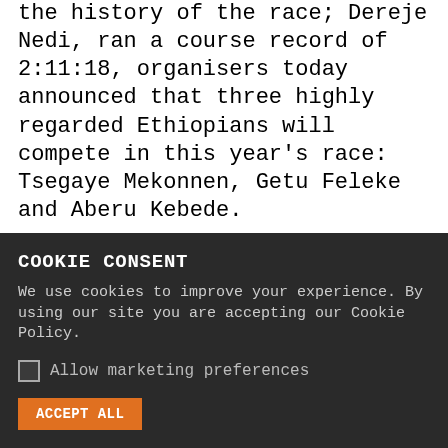the history of the race; Dereje Nedi, ran a course record of 2:11:18, organisers today announced that three highly regarded Ethiopians will compete in this year's race: Tsegaye Mekonnen, Getu Feleke and Aberu Kebede.
Mekonnen stunned the road-running world earlier this year when he smashed the world junior best on his marathon debut. Winning the highly competitive Dubai Marathon in January with a time of 2:04:32, he became the 11th-fastest marathon runner ever at the age of just 18. The way he ran away from top-class contenders in the final stages of the race suggests that there is much more to come.
“I could have run faster, but all of us in the leading group lost some energy during the first part of the race,” said
COOKIE CONSENT
We use cookies to improve your experience. By using our site you are accepting our Cookie Policy.
Allow marketing preferences